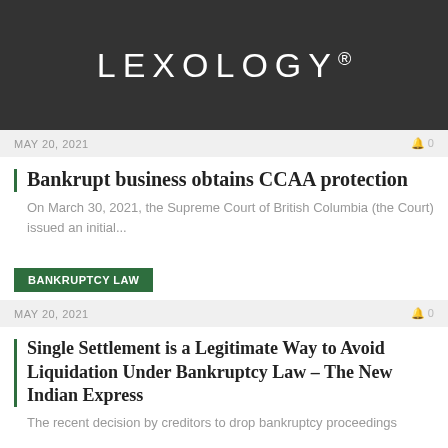[Figure (logo): Lexology logo — white text on dark grey background]
MAY 20, 2021   🔔 0
Bankrupt business obtains CCAA protection
On March 30, 2021, the Supreme Court of British Columbia (the Court) issued an initial...
BANKRUPTCY LAW
MAY 20, 2021   🔔 0
Single Settlement is a Legitimate Way to Avoid Liquidation Under Bankruptcy Law – The New Indian Express
The recent decision by creditors to drop bankruptcy proceedings